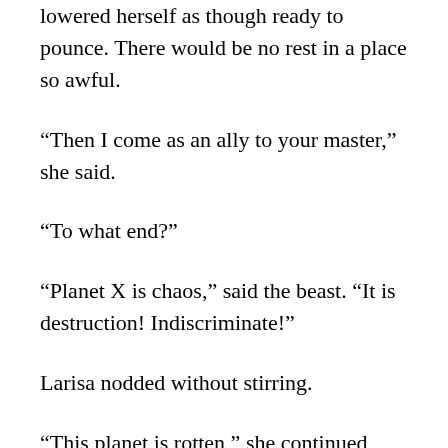lowered herself as though ready to pounce. There would be no rest in a place so awful.
“Then I come as an ally to your master,” she said.
“To what end?”
“Planet X is chaos,” said the beast. “It is destruction! Indiscriminate!”
Larisa nodded without stirring.
“This planet is rotten,” she continued, “and lousy with the blight called humanity. They make me sick, every last one of them! And their